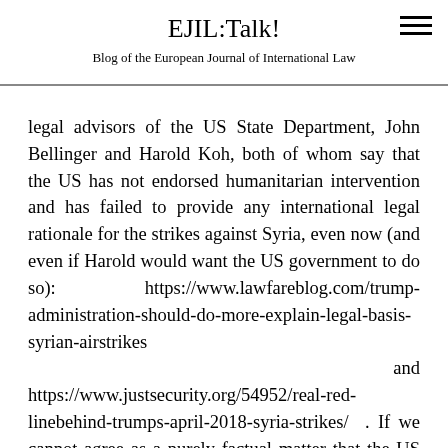EJIL:Talk!
Blog of the European Journal of International Law
legal advisors of the US State Department, John Bellinger and Harold Koh, both of whom say that the US has not endorsed humanitarian intervention and has failed to provide any international legal rationale for the strikes against Syria, even now (and even if Harold would want the US government to do so): https://www.lawfareblog.com/trump-administration-should-do-more-explain-legal-basis-syrian-airstrikes and https://www.justsecurity.org/54952/real-red-linebehind-trumps-april-2018-syria-strikes/ . If we cannot agree as a purely factual matter that the US government has not espoused a